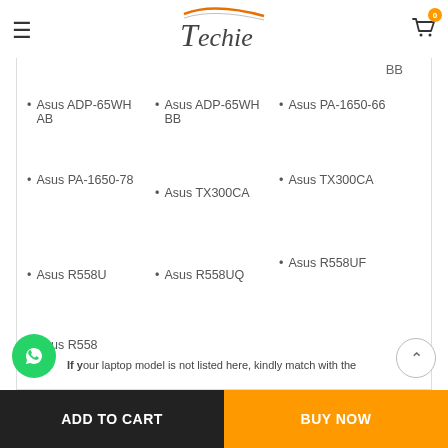Techie (logo)
BB
Asus ADP-65WH AB
Asus ADP-65WH BB
Asus PA-1650-66
Asus PA-1650-78
Asus TX300CA
Asus TX300CA
Asus R558U
Asus R558UQ
Asus R558UF
Asus R558
If your laptop model is not listed here, kindly match with the
ADD TO CART
BUY NOW